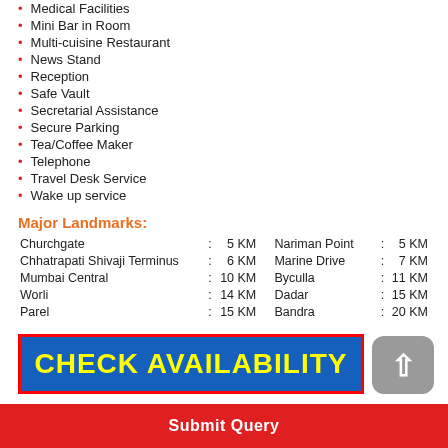Medical Facilities
Mini Bar in Room
Multi-cuisine Restaurant
News Stand
Reception
Safe Vault
Secretarial Assistance
Secure Parking
Tea/Coffee Maker
Telephone
Travel Desk Service
Wake up service
Major Landmarks:
| Churchgate | : | 5 KM | Nariman Point | : | 5 KM |
| Chhatrapati Shivaji Terminus | : | 6 KM | Marine Drive | : | 7 KM |
| Mumbai Central | : | 10 KM | Byculla | : | 11 KM |
| Worli | : | 14 KM | Dadar | : | 15 KM |
| Parel | : | 15 KM | Bandra | : | 20 KM |
[Figure (other): CHECK AVAILABILITY button banner with blue background and yellow text]
Submit Query